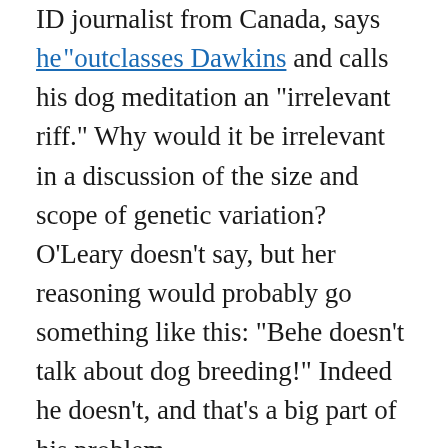ID journalist from Canada, says he "outclasses Dawkins" and calls his dog meditation an "irrelevant riff." Why would it be irrelevant in a discussion of the size and scope of genetic variation? O'Leary doesn't say, but her reasoning would probably go something like this: "Behe doesn't talk about dog breeding!" Indeed he doesn't, and that's a big part of his problem.
UPDATE: This post pinged "Uncommon Descent," the ID blog where O'Leary offered her slapdash opinion of Dawkins's critique. After reading this post, the admin of Uncommon Descent removed the trackback; I can see this from my referral log. Perhaps the only way IDers will ever win their argument